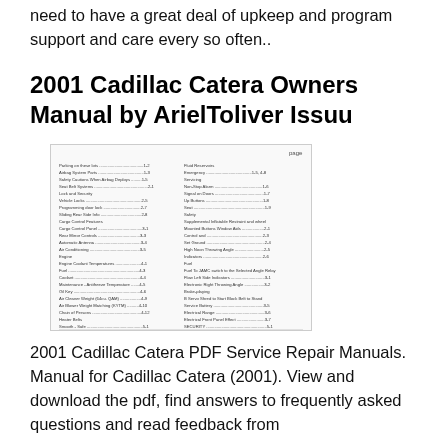need to have a great deal of upkeep and program support and care every so often..
2001 Cadillac Catera Owners Manual by ArielToliver Issuu
[Figure (screenshot): Screenshot of a table of contents from a 2001 Cadillac Catera Owners Manual PDF]
2001 Cadillac Catera PDF Service Repair Manuals. Manual for Cadillac Catera (2001). View and download the pdf, find answers to frequently asked questions and read feedback from